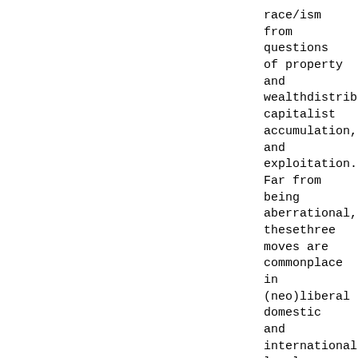race/ism from questions of property and wealthdistribution, capitalist accumulation, and exploitation. Far from being aberrational, thesethree moves are commonplace in (neo)liberal domestic and international legal